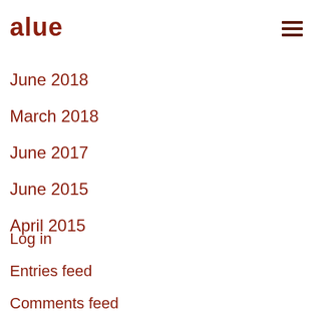alue
June 2018
March 2018
June 2017
June 2015
April 2015
Log in
Entries feed
Comments feed
WordPress.org